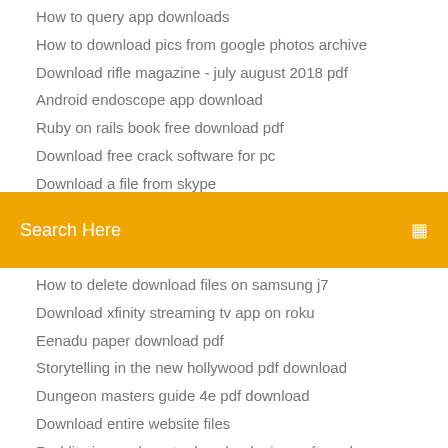How to query app downloads
How to download pics from google photos archive
Download rifle magazine - july august 2018 pdf
Android endoscope app download
Ruby on rails book free download pdf
Download free crack software for pc
Download a file from skype
[Figure (screenshot): Orange search bar with text 'Search Here' and a search icon on the right]
How to delete download files on samsung j7
Download xfinity streaming tv app on roku
Eenadu paper download pdf
Storytelling in the new hollywood pdf download
Dungeon masters guide 4e pdf download
Download entire website files
Reddit piracy where to download minecraft mods
God is not great free pdf download
Download hotspot shield full version free
App waiting for download android